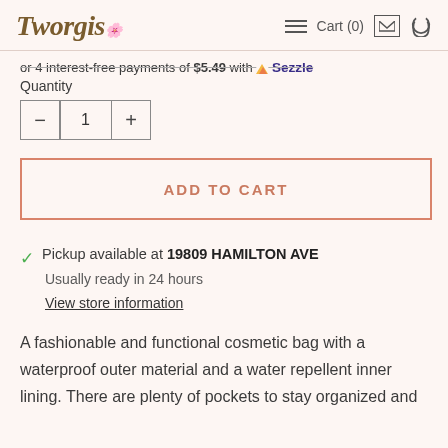Tworgis | Cart (0)
or 4 interest-free payments of $5.49 with Sezzle
Quantity
1
ADD TO CART
Pickup available at 19809 HAMILTON AVE
Usually ready in 24 hours
View store information
A fashionable and functional cosmetic bag with a waterproof outer material and a water repellent inner lining. There are plenty of pockets to stay organized and